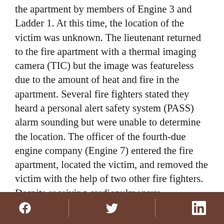the apartment by members of Engine 3 and Ladder 1. At this time, the location of the victim was unknown. The lieutenant returned to the fire apartment with a thermal imaging camera (TIC) but the image was featureless due to the amount of heat and fire in the apartment. Several fire fighters stated they heard a personal alert safety system (PASS) alarm sounding but were unable to determine the location. The officer of the fourth-due engine company (Engine 7) entered the fire apartment, located the victim, and removed the victim with the help of two other fire fighters. Despite receiving cardiopulmonary resuscitation (CPR) and advanced life support (ALS) outside the structure, in the ambulance, and in the local hospital's emergency department (ED), the victim died. The death certificate and the autopsy
Social media icons: Facebook, Twitter, LinkedIn